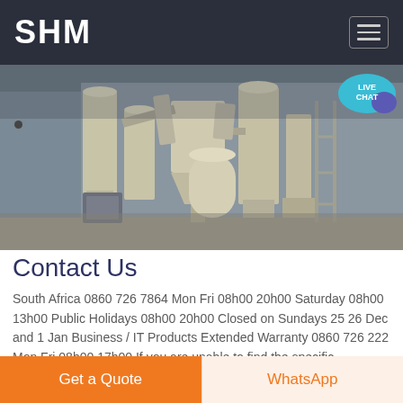SHM
[Figure (photo): Industrial milling/grinding machinery inside a warehouse facility, showing large beige/cream colored equipment with silos, hoppers, conveyors and dust collection systems]
Contact Us
South Africa 0860 726 7864 Mon Fri 08h00 20h00 Saturday 08h00 13h00 Public Holidays 08h00 20h00 Closed on Sundays 25 26 Dec and 1 Jan Business / IT Products Extended Warranty 0860 726 222 Mon Fri 08h00 17h00 If you are unable to find the specific information you are looking for on our web pages please call us.
Get a Quote
WhatsApp